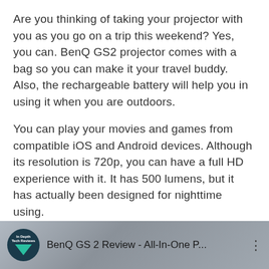Are you thinking of taking your projector with you as you go on a trip this weekend? Yes, you can. BenQ GS2 projector comes with a bag so you can make it your travel buddy. Also, the rechargeable battery will help you in using it when you are outdoors.
You can play your movies and games from compatible iOS and Android devices. Although its resolution is 720p, you can have a full HD experience with it. It has 500 lumens, but it has actually been designed for nighttime using.
[Figure (screenshot): Video thumbnail for 'BenQ GS 2 Review - All-In-One P...' with a circular logo showing 'In Depth Tech Reviews' with a teal downward arrow, on a grey gradient background with three-dot menu icon.]